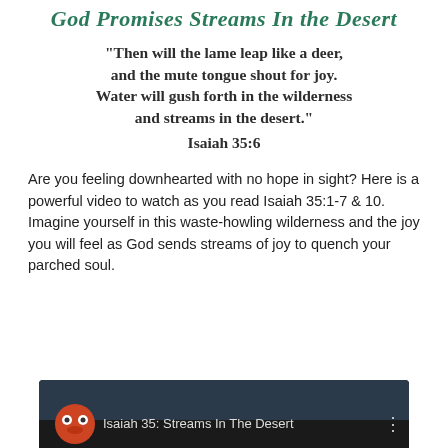God Promises Streams In the Desert
“Then will the lame leap like a deer, and the mute tongue shout for joy. Water will gush forth in the wilderness and streams in the desert.” Isaiah 35:6
Are you feeling downhearted with no hope in sight? Here is a powerful video to watch as you read Isaiah 35:1-7 & 10. Imagine yourself in this waste-howling wilderness and the joy you will feel as God sends streams of joy to quench your parched soul.
[Figure (screenshot): A video thumbnail showing an owl icon on a dark background with the text 'Isaiah 35: Streams In The Desert' and a menu icon on the right]